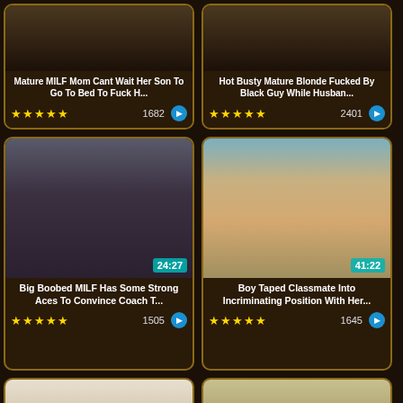[Figure (screenshot): Video thumbnail grid showing adult video website with 6 video cards in 2-column layout. Top row shows two partially visible cards with titles and ratings. Middle row shows two full cards with thumbnails and metadata. Bottom row shows two partially visible thumbnail cards.]
Mature MILF Mom Cant Wait Her Son To Go To Bed To Fuck H...
★★★★★ 1682
Hot Busty Mature Blonde Fucked By Black Guy While Husban...
★★★★★ 2401
24:27
Big Boobed MILF Has Some Strong Aces To Convince Coach T...
★★★★★ 1505
41:22
Boy Taped Classmate Into Incriminating Position With Her...
★★★★★ 1645
5:00
6:01